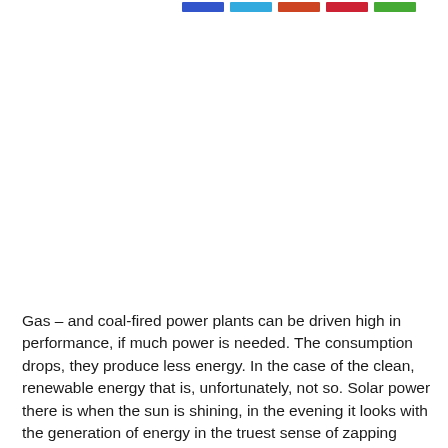[Figure (other): Top portion of a chart or figure showing colored legend/header bars (blue, cyan, orange/red, red, green) at the very top of the page — the chart content area is cropped/cut off and appears blank white.]
Gas – and coal-fired power plants can be driven high in performance, if much power is needed. The consumption drops, they produce less energy. In the case of the clean, renewable energy that is, unfortunately, not so. Solar power there is when the sun is shining, in the evening it looks with the generation of energy in the truest sense of zapping duster. Similar to wind